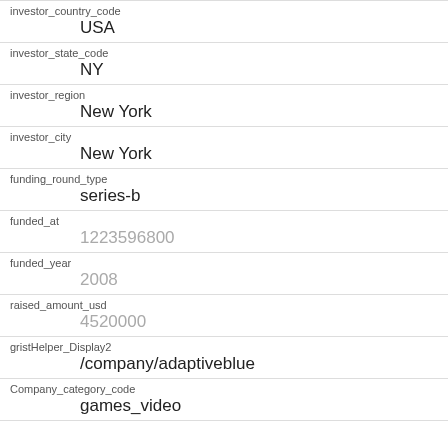| Field | Value |
| --- | --- |
| investor_country_code | USA |
| investor_state_code | NY |
| investor_region | New York |
| investor_city | New York |
| funding_round_type | series-b |
| funded_at | 1223596800 |
| funded_year | 2008 |
| raised_amount_usd | 4520000 |
| gristHelper_Display2 | /company/adaptiveblue |
| Company_category_code | games_video |